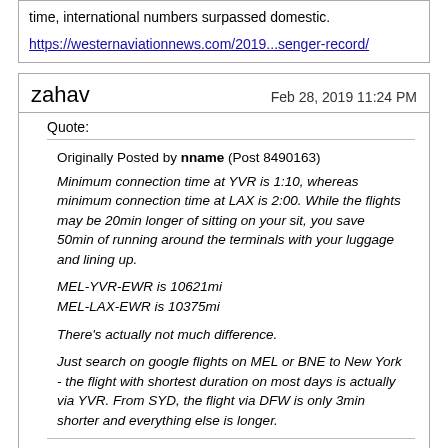time, international numbers surpassed domestic.
https://westernaviationnews.com/2019...senger-record/
zahav
Feb 28, 2019 11:24 PM
Quote:
Originally Posted by nname (Post 8490163) Minimum connection time at YVR is 1:10, whereas minimum connection time at LAX is 2:00. While the flights may be 20min longer of sitting on your sit, you save 50min of running around the terminals with your luggage and lining up.

MEL-YVR-EWR is 10621mi
MEL-LAX-EWR is 10375mi

There's actually not much difference.

Just search on google flights on MEL or BNE to New York - the flight with shortest duration on most days is actually via YVR. From SYD, the flight via DFW is only 3min shorter and everything else is longer.
You're right, I am surprised the YVRoptions are so viable. Going strictly off gcmap.com as well as the multiple flights doesn't not tell the